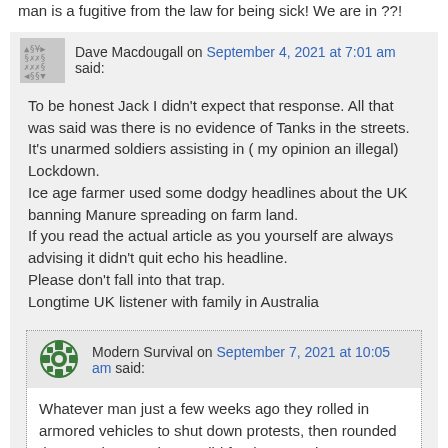man is a fugitive from the law for being sick! We are in ??!
Dave Macdougall on September 4, 2021 at 7:01 am said:
To be honest Jack I didn't expect that response. All that was said was there is no evidence of Tanks in the streets. It's unarmed soldiers assisting in ( my opinion an illegal) Lockdown.
Ice age farmer used some dodgy headlines about the UK banning Manure spreading on farm land.
If you read the actual article as you yourself are always advising it didn't quit echo his headline.
Please don't fall into that trap.
Longtime UK listener with family in Australia
Modern Survival on September 7, 2021 at 10:05 am said:
Whatever man just a few weeks ago they rolled in armored vehicles to shut down protests, then rounded them up the way the US did for the Jan 6th nonsense. May be you don't consider armored